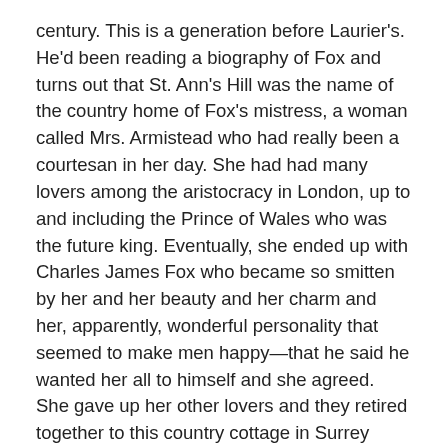century. This is a generation before Laurier's. He'd been reading a biography of Fox and turns out that St. Ann's Hill was the name of the country home of Fox's mistress, a woman called Mrs. Armistead who had really been a courtesan in her day. She had had many lovers among the aristocracy in London, up to and including the Prince of Wales who was the future king. Eventually, she ended up with Charles James Fox who became so smitten by her and her beauty and her charm and her, apparently, wonderful personality that seemed to make men happy—that he said he wanted her all to himself and she agreed. She gave up her other lovers and they retired together to this country cottage in Surrey called St. Ann's Hill where they lived a blissful life together. He was actually quite a dissolute man and apparently Mrs. Armistead—under her influence, he moderated some of his vices and learned to enjoy things like reading together and gardening together and walking through the village. It was a kind of idyllic existence at the end of the life of this man that Laurier admired so much.